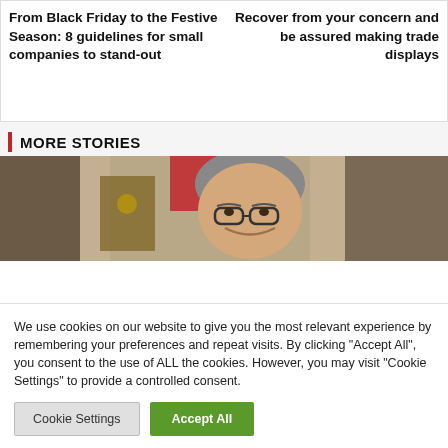From Black Friday to the Festive Season: 8 guidelines for small companies to stand-out
Recover from your concern and be assured making trade displays
MORE STORIES
[Figure (photo): Photo of an older man with glasses smiling, with flags and columns visible in the background]
We use cookies on our website to give you the most relevant experience by remembering your preferences and repeat visits. By clicking "Accept All", you consent to the use of ALL the cookies. However, you may visit "Cookie Settings" to provide a controlled consent.